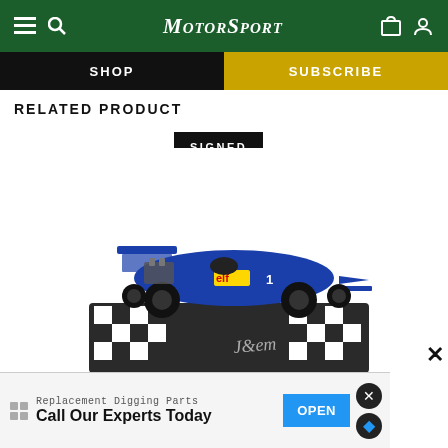MotorSport
SHOP
SUBSCRIBE
RELATED PRODUCT
SIGNED
[Figure (photo): Blue Tyrrell Formula 1 model car (elf livery, #1) on a checkered base, signed edition, displayed on a display stand with a signature visible]
Replacement Digging Parts
Call Our Experts Today
OPEN